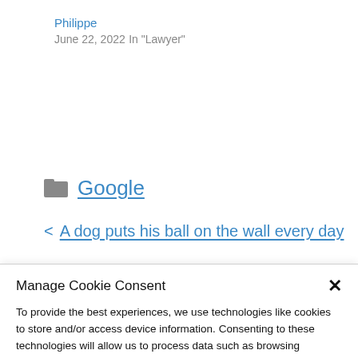Philippe
June 22, 2022
In "Lawyer"
Google
A dog puts his ball on the wall every day
Manage Cookie Consent
To provide the best experiences, we use technologies like cookies to store and/or access device information. Consenting to these technologies will allow us to process data such as browsing behavior or unique IDs on this site. Not consenting or withdrawing consent, may adversely affect certain features and functions.
Accept
Cookie Policy